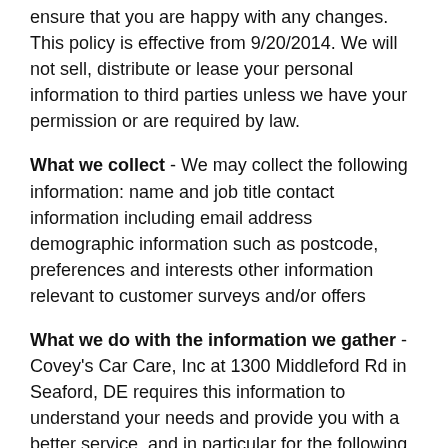ensure that you are happy with any changes. This policy is effective from 9/20/2014. We will not sell, distribute or lease your personal information to third parties unless we have your permission or are required by law.
What we collect - We may collect the following information: name and job title contact information including email address demographic information such as postcode, preferences and interests other information relevant to customer surveys and/or offers
What we do with the information we gather - Covey's Car Care, Inc at 1300 Middleford Rd in Seaford, DE requires this information to understand your needs and provide you with a better service, and in particular for the following reasons: Internal record keeping. We may use the information to improve our products and services. We may periodically send promotional email about new products, special offers or other information which we think you may find interesting using the email address which you have